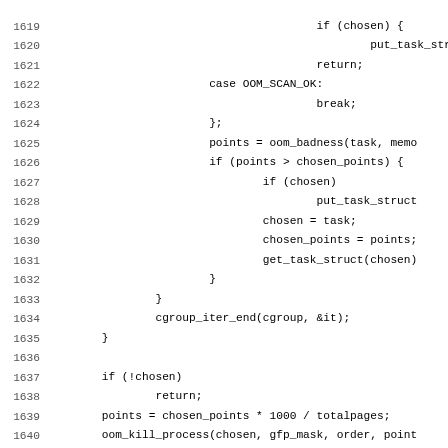[Figure (other): Source code listing (C kernel code) showing lines 1619-1651, including OOM killer logic and mem_cgroup_reclaim function definition.]